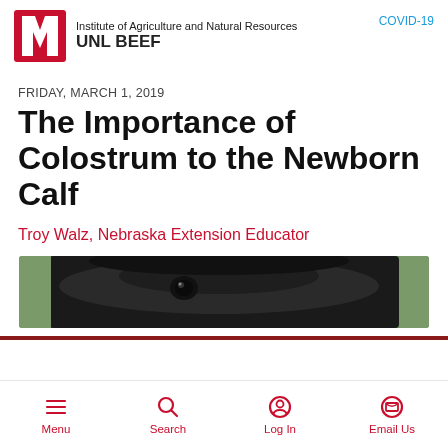Institute of Agriculture and Natural Resources UNL BEEF | COVID-19
FRIDAY, MARCH 1, 2019
The Importance of Colostrum to the Newborn Calf
Troy Walz, Nebraska Extension Educator
[Figure (photo): Close-up photo of a black newborn calf face against a green background]
Menu | Search | Log In | Email Us